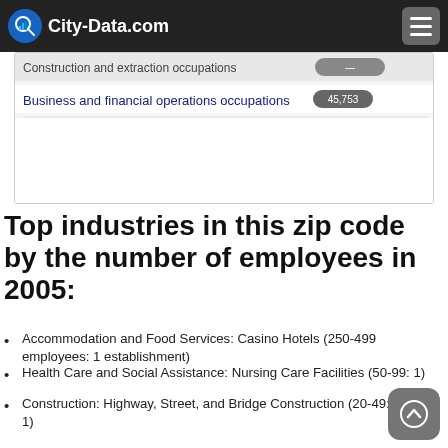City-Data.com
[Figure (screenshot): Partial bar chart showing construction and financial occupations with City-Data.com header overlay. Business and financial operations occupations bar with badge 45,753.]
Top industries in this zip code by the number of employees in 2005:
Accommodation and Food Services: Casino Hotels (250-499 employees: 1 establishment)
Health Care and Social Assistance: Nursing Care Facilities (50-99: 1)
Construction: Highway, Street, and Bridge Construction (20-49: 1, 1-4: 1)
Accommodation and Food Services: Full-Service Restaurants (10-19: 2, 1-4: 2)
Accommodation and Food Services: Limited-Service Restaurants (20-49: 1)
Other Services (except Public Administration): Religious